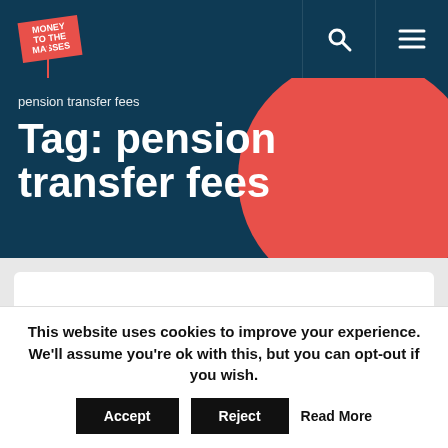[Figure (logo): Money to the Masses logo — red sign on a stick with white bold text]
pension transfer fees
Tag: pension transfer fees
This website uses cookies to improve your experience. We'll assume you're ok with this, but you can opt-out if you wish.